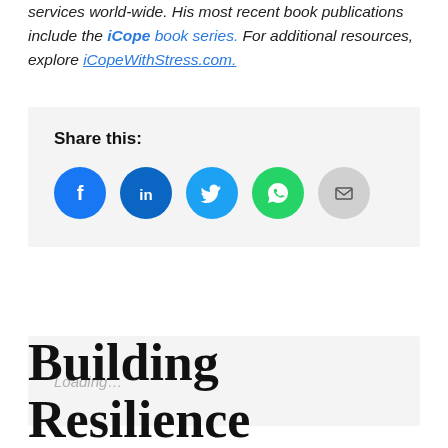services world-wide. His most recent book publications include the iCope book series. For additional resources, explore iCopeWithStress.com.
Share this:
[Figure (infographic): Social sharing icons: Facebook (blue circle), LinkedIn (dark blue circle), Twitter (light blue circle), WhatsApp (green circle), Email (gray circle)]
Loading...
Building Resilience